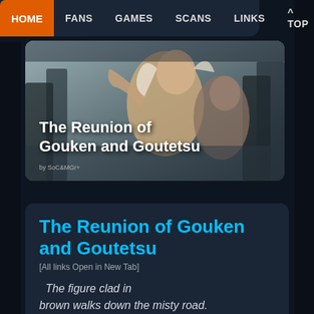HOME  FANS  GAMES  SCANS  LINKS  ^ TOP
[Figure (illustration): Manga-style illustration of two fighters (Gouken and Goutetsu) in a forest/nature setting, with the title 'The Reunion of Gouken and Goutetsu' overlaid in bold white text and a small artist credit below.]
The Reunion of Gouken and Goutetsu
[All links Open in New Tab]
The figure clad in brown walks down the misty road. Countless iron and stone statues lined the sides, figures of Ashura placed so close together they made